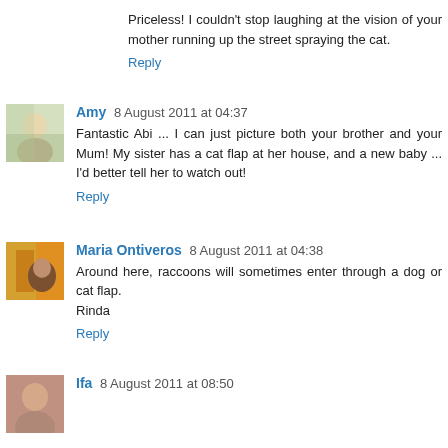Priceless! I couldn't stop laughing at the vision of your mother running up the street spraying the cat.
Reply
Amy 8 August 2011 at 04:37
Fantastic Abi ... I can just picture both your brother and your Mum! My sister has a cat flap at her house, and a new baby ... I'd better tell her to watch out!
Reply
Maria Ontiveros 8 August 2011 at 04:38
Around here, raccoons will sometimes enter through a dog or cat flap.
Rinda
Reply
Ifa 8 August 2011 at 08:50